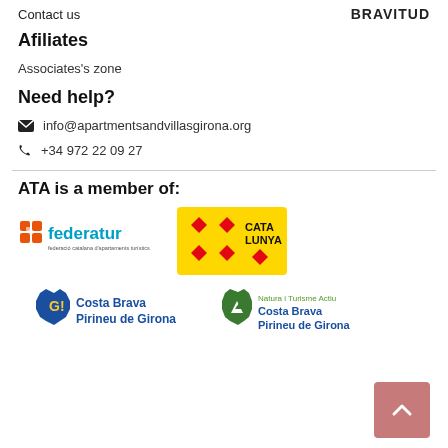Contact us   BRAVITUD
Afiliates
Associates's zone
Need help?
✉ info@apartmentsandvillasgirona.org
☎ +34 972 22 09 27
ATA is a member of:
[Figure (logo): federatur - federació catalana d'apartaments turístics logo]
[Figure (logo): Catalunya tourism logo - yellow background with red diamond pattern]
[Figure (logo): Costa Brava Pirineu de Girona logo with G! badge]
[Figure (logo): Natura i Turisme Actiu Costa Brava Pirineu de Girona logo with green mountain badge]